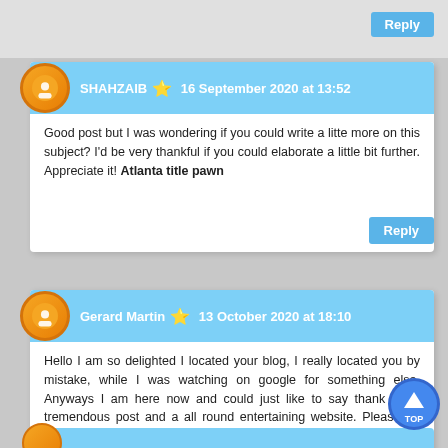Reply
SHAHZAIB ⭐ 16 September 2020 at 13:52
Good post but I was wondering if you could write a litte more on this subject? I'd be very thankful if you could elaborate a little bit further. Appreciate it! Atlanta title pawn
Reply
Gerard Martin ⭐ 13 October 2020 at 18:10
Hello I am so delighted I located your blog, I really located you by mistake, while I was watching on google for something else, Anyways I am here now and could just like to say thank for a tremendous post and a all round entertaining website. Please do keep up the great work. avenue south residence showflat
Reply